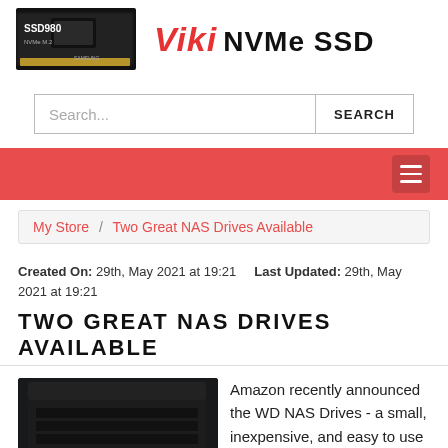[Figure (logo): Samsung SSD 980 NVMe M.2 drive image with Viki NVMe SSD logo text]
[Figure (screenshot): Search bar with placeholder text 'Search...' and SEARCH button]
[Figure (infographic): Red navigation bar with hamburger menu icon]
My Store / Two Great NAS Drives Available
Created On: 29th, May 2021 at 19:21    Last Updated: 29th, May 2021 at 19:21
TWO GREAT NAS DRIVES AVAILABLE
[Figure (photo): WD NAS drive device - black box shaped NAS unit with blue display panel]
Amazon recently announced the WD NAS Drives - a small, inexpensive, and easy to use desktop NAS unit. As